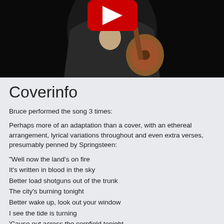[Figure (screenshot): YouTube video thumbnail showing a person with a guitar, with a red YouTube play button overlay in the upper center area. Dark background.]
Coverinfo
Bruce performed the song 3 times:
Perhaps more of an adaptation than a cover, with an ethereal arrangement, lyrical variations throughout and even extra verses, presumably penned by Springsteen:
"Well now the land's on fire
It's written in blood in the sky
Better load shotguns out of the trunk
The city's burning tonight
Better wake up, look out your window
I see the tide is turning
'Cause out across the cornfield tonight
I see crosses burning"